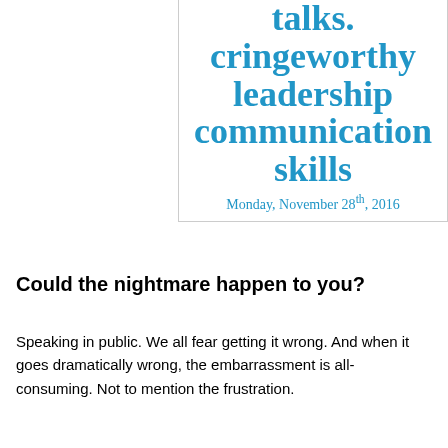talks. cringeworthy leadership communication skills
Monday, November 28th, 2016
Could the nightmare happen to you?
Speaking in public. We all fear getting it wrong. And when it goes dramatically wrong, the embarrassment is all-consuming. Not to mention the frustration.